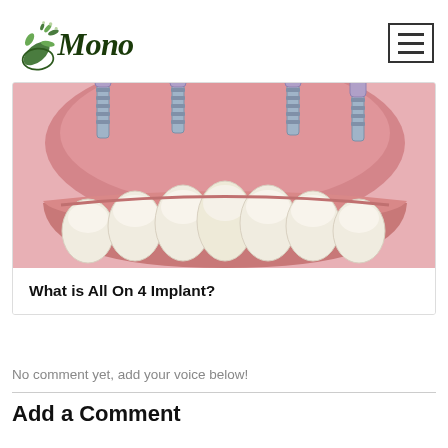Mono
[Figure (illustration): 3D medical illustration of dental implants (All On 4) showing implant screws inserted into upper jaw gum with white teeth prosthetic attached below]
What is All On 4 Implant?
No comment yet, add your voice below!
Add a Comment